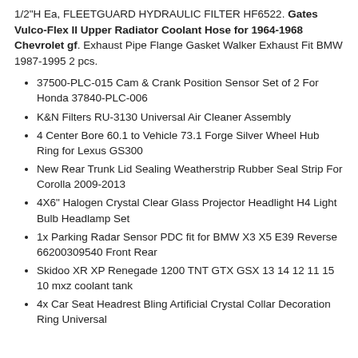1/2"H Ea, FLEETGUARD HYDRAULIC FILTER HF6522. Gates Vulco-Flex II Upper Radiator Coolant Hose for 1964-1968 Chevrolet gf. Exhaust Pipe Flange Gasket Walker Exhaust Fit BMW 1987-1995 2 pcs.
37500-PLC-015 Cam & Crank Position Sensor Set of 2 For Honda 37840-PLC-006
K&N Filters RU-3130 Universal Air Cleaner Assembly
4 Center Bore 60.1 to Vehicle 73.1 Forge Silver Wheel Hub Ring for Lexus GS300
New Rear Trunk Lid Sealing Weatherstrip Rubber Seal Strip For Corolla 2009-2013
4X6" Halogen Crystal Clear Glass Projector Headlight H4 Light Bulb Headlamp Set
1x Parking Radar Sensor PDC fit for BMW X3 X5 E39 Reverse 66200309540 Front Rear
Skidoo XR XP Renegade 1200 TNT GTX GSX 13 14 12 11 15 10 mxz coolant tank
4x Car Seat Headrest Bling Artificial Crystal Collar Decoration Ring Universal